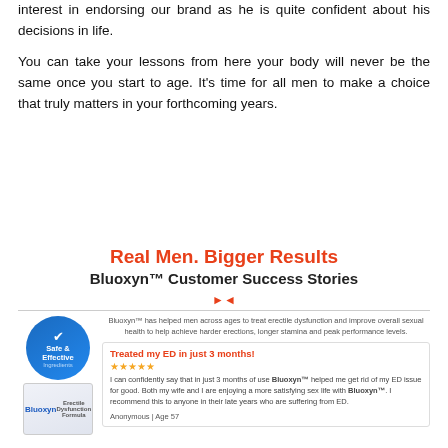interest in endorsing our brand as he is quite confident about his decisions in life.
You can take your lessons from here your body will never be the same once you start to age. It’s time for all men to make a choice that truly matters in your forthcoming years.
[Figure (infographic): Bluoxyn Customer Success Stories promotional infographic with badge, product image, customer review. Title: Real Men. Bigger Results. Subtitle: Bluoxyn Customer Success Stories. Review titled 'Treated my ED in just 3 months!' with 5 stars, review text, attributed to Anonymous | Age 57.]